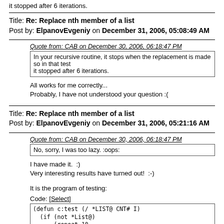it stopped after 6 iterations.
Title: Re: Replace nth member of a list
Post by: ElpanovEvgeniy on December 31, 2006, 05:08:49 AM
Quote from: CAB on December 30, 2006, 06:18:47 PM
In your recursive routine, it stops when the replacement is made so in that test it stopped after 6 iterations.
All works for me correctly...
Probably, I have not understood your question :(
Title: Re: Replace nth member of a list
Post by: ElpanovEvgeniy on December 31, 2006, 05:21:16 AM
Quote from: CAB on December 30, 2006, 06:18:47 PM
No, sorry, I was too lazy. :oops:
I have made it.  :)
Very interesting results have turned out!  :-)
It is the program of testing:
Code: [Select]
(defun c:test (/ *LIST@ CNT# I)
  (if (not *List@)
      (repeat 10
          (setq Cnt# 48)
          (repeat 100
            (setq *List@ (append *List@ (list (chr Cnt#))))
            (setq Cnt# (1+ Cnt#))